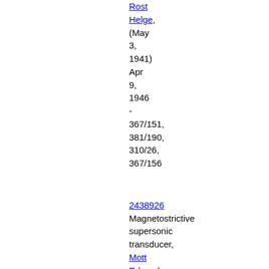Rost Helge, (May 3, 1941) Apr 9, 1946 - 367/151, 381/190, 310/26, 367/156
2438926 Magnetostrictive supersonic transducer, Mott Edward E, Bell Telephone